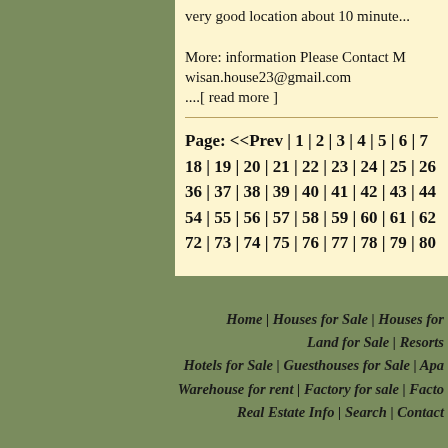very good location about 10 minute...
More: information Please Contact M wisan.house23@gmail.com ....[ read more ]
Page: <<Prev | 1 | 2 | 3 | 4 | 5 | 6 | 7 ... 18 | 19 | 20 | 21 | 22 | 23 | 24 | 25 | 26... 36 | 37 | 38 | 39 | 40 | 41 | 42 | 43 | 44... 54 | 55 | 56 | 57 | 58 | 59 | 60 | 61 | 62... 72 | 73 | 74 | 75 | 76 | 77 | 78 | 79 | 80...
Home | Houses for Sale | Houses for... Land for Sale | Resorts... Hotels for Sale | Guesthouses for Sale | Apa... Warehouse for rent | Factory for sale | Facto... Real Estate Info | Search | Contact...
Copyright © Chiang M...